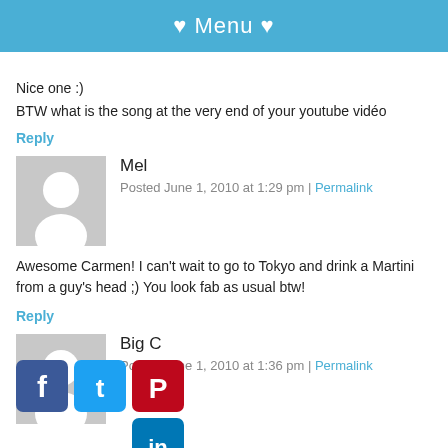♥ Menu ♥
Nice one :)
BTW what is the song at the very end of your youtube vidéo
Reply
Mel
Posted June 1, 2010 at 1:29 pm | Permalink
Awesome Carmen! I can't wait to go to Tokyo and drink a Martini from a guy's head ;) You look fab as usual btw!
Reply
Big C
Posted June 1, 2010 at 1:36 pm | Permalink
[Figure (illustration): Social media sharing icons: Facebook (blue), Twitter (light blue), Pinterest (red), LinkedIn (dark blue)]